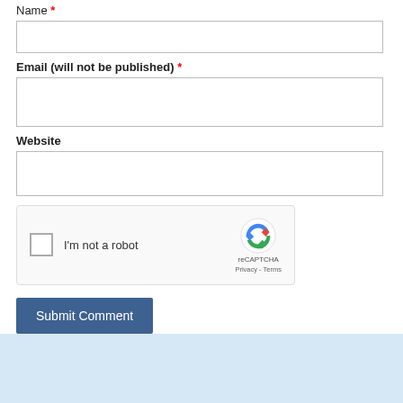Name *
Email (will not be published) *
Website
[Figure (other): reCAPTCHA widget with checkbox labeled 'I'm not a robot' and reCAPTCHA logo with Privacy and Terms links]
Submit Comment
[Figure (photo): Food photo at bottom with text 'THE' overlaid in white bold letters on an image of cooked chicken or similar food]